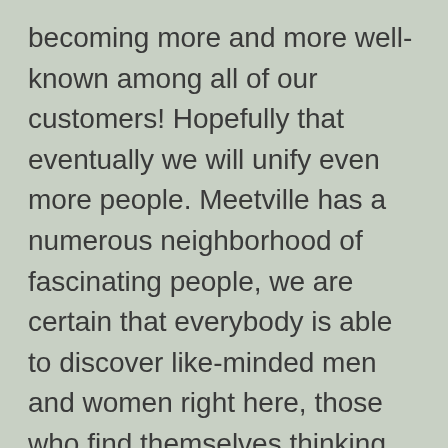becoming more and more well-known among all of our customers! Hopefully that eventually we will unify even more people. Meetville has a numerous neighborhood of fascinating people, we are certain that everybody is able to discover like-minded men and women right here, those who find themselves thinking about conditions that are essential for you personally, those who communicate your opinions and preferences or perhaps those people who are great to chat with.

The goal is permit two halves satisfy. We value each our user and really value time you spend